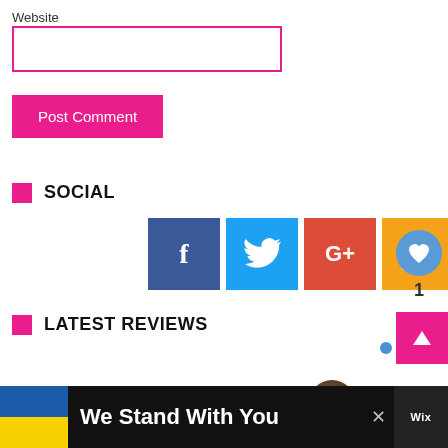Website
[Figure (screenshot): Website input text field (empty, white background, pink left border)]
[Figure (screenshot): Post Comment button in pink/magenta color with white text]
SOCIAL
[Figure (infographic): Social media icon buttons: Facebook (blue), Twitter (light blue), Google+ (red-orange), RSS (orange)]
[Figure (screenshot): Like/heart button circle in blue with heart icon and count of 1 below]
[Figure (screenshot): Scroll to top pink button with up arrow]
LATEST REVIEWS
[Figure (screenshot): What's Next widget with thumbnail image and text: DOOM is teaching old...]
[Figure (screenshot): Ad banner: We Stand With You with Ukrainian flag colors and Wix logo]